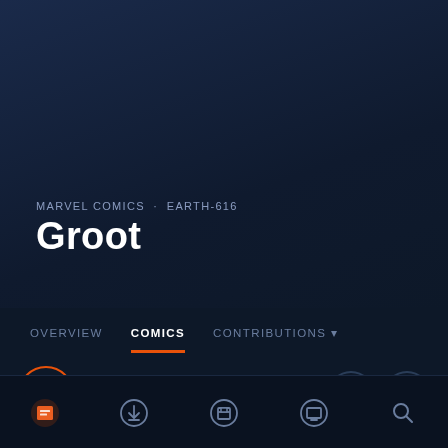MARVEL COMICS · EARTH-616
Groot
OVERVIEW  COMICS  CONTRIBUTIONS
0 OF 283 OWNED
[Figure (screenshot): Bottom navigation bar with 5 icons: home/character icon (active, orange), download icon, collection box icon, reading/screen icon, and search magnifier icon]